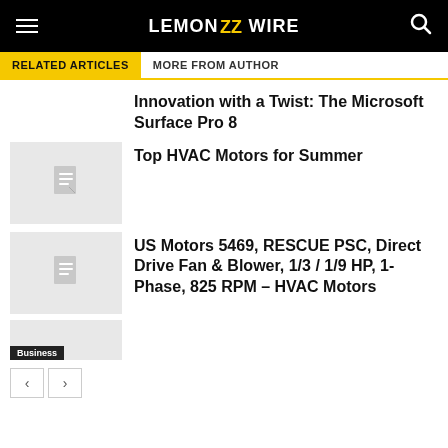LEMON WIRE
RELATED ARTICLES
MORE FROM AUTHOR
Innovation with a Twist: The Microsoft Surface Pro 8
[Figure (illustration): Placeholder thumbnail for article]
Top HVAC Motors for Summer
[Figure (illustration): Placeholder thumbnail for article]
US Motors 5469, RESCUE PSC, Direct Drive Fan & Blower, 1/3 / 1/9 HP, 1-Phase, 825 RPM – HVAC Motors
[Figure (illustration): Placeholder thumbnail with Business badge]